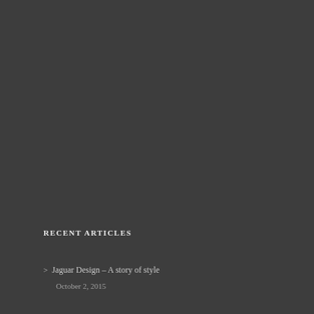RECENT ARTICLES
> Jaguar Design – A story of style
October 2, 2015